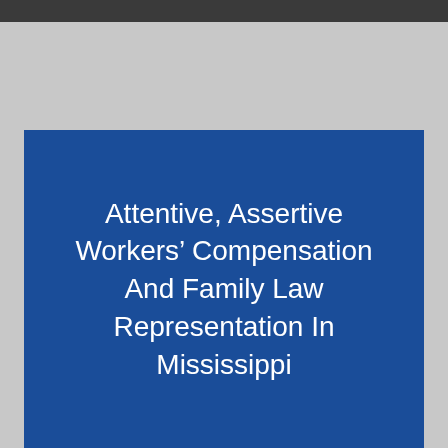Attentive, Assertive Workers' Compensation And Family Law Representation In Mississippi